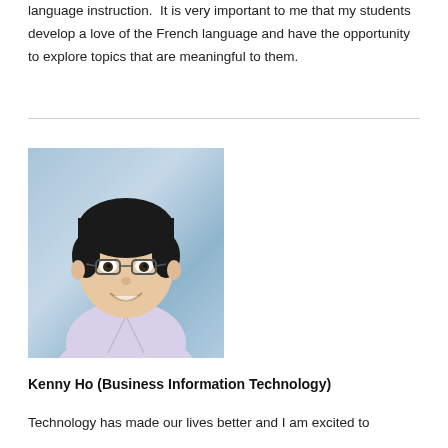language instruction.  It is very important to me that my students develop a love of the French language and have the opportunity to explore topics that are meaningful to them.
[Figure (photo): Headshot photo of Kenny Ho, an Asian man wearing glasses and a light purple collared shirt, smiling, against a blue-grey background.]
Kenny Ho (Business Information Technology)
Technology has made our lives better and I am excited to